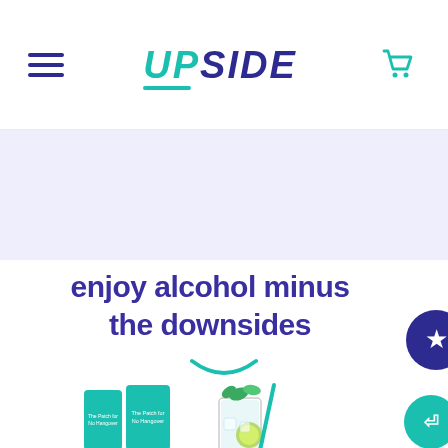UPSIDE — navigation header with hamburger menu and cart icon
[Figure (illustration): Light lavender/purple hero banner background area]
enjoy alcohol minus the downsides
[Figure (illustration): Teal smile/arc decoration icon]
[Figure (photo): Product photo showing teal UPSIDE supplement boxes labeled 'The Patch for No Hangover' next to a mojito-style cocktail glass with mint, lime, and a teal straw]
[Figure (illustration): Circular dark navy chat/review badge partially visible on right edge showing a star icon]
[Figure (illustration): Teal circular chat button with arrow icon on bottom right]